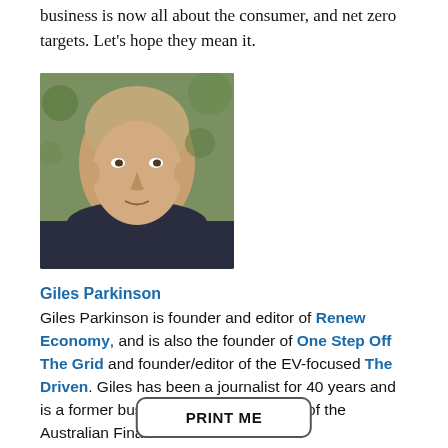business is now all about the consumer, and net zero targets. Let's hope they mean it.
[Figure (photo): Headshot photo of Giles Parkinson, a bald man wearing a dark shirt, with green foliage in the background.]
Giles Parkinson
Giles Parkinson is founder and editor of Renew Economy, and is also the founder of One Step Off The Grid and founder/editor of the EV-focused The Driven. Giles has been a journalist for 40 years and is a former business and deputy editor of the Australian Financial Review.
PRINT ME